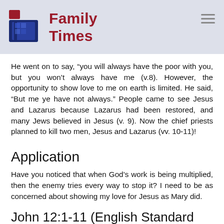Family Times
He went on to say, “you will always have the poor with you, but you won’t always have me (v.8). However, the opportunity to show love to me on earth is limited. He said, “But me ye have not always.” People came to see Jesus and Lazarus because Lazarus had been restored, and many Jews believed in Jesus (v. 9). Now the chief priests planned to kill two men, Jesus and Lazarus (vv. 10-11)!
Application
Have you noticed that when God’s work is being multiplied, then the enemy tries every way to stop it? I need to be as concerned about showing my love for Jesus as Mary did.
John 12:1-11 (English Standard Version)